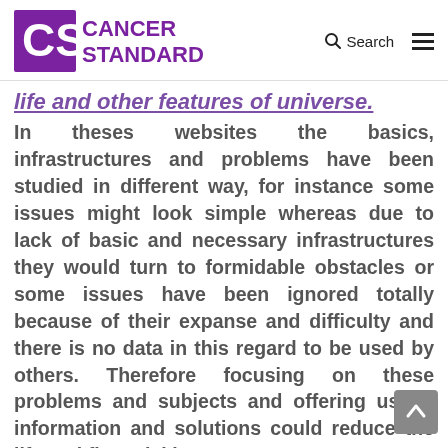Cancer Standard | Search
life and other features of universe.
In theses websites the basics, infrastructures and problems have been studied in different way, for instance some issues might look simple whereas due to lack of basic and necessary infrastructures they would turn to formidable obstacles or some issues have been ignored totally because of their expanse and difficulty and there is no data in this regard to be used by others. Therefore focusing on these problems and subjects and offering useful information and solutions could reduce the life and financial losses.
In total these websites aims to improve